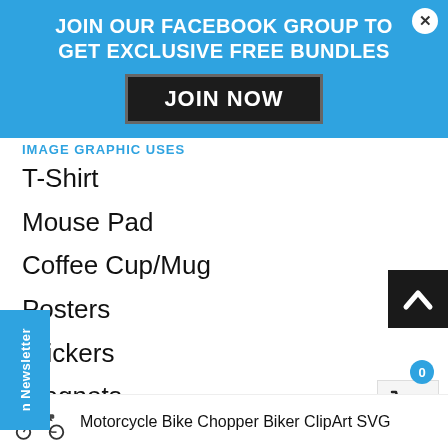JOIN OUR FACEBOOK GROUP TO GET EXCLUSIVE FREE BUNDLES
JOIN NOW
IMAGE GRAPHIC USES
T-Shirt
Mouse Pad
Coffee Cup/Mug
Posters
Stickers
Magnets
Buttons
Vinyl Decals
Scrapbooking
and more
Motorcycle Bike Chopper Biker ClipArt SVG